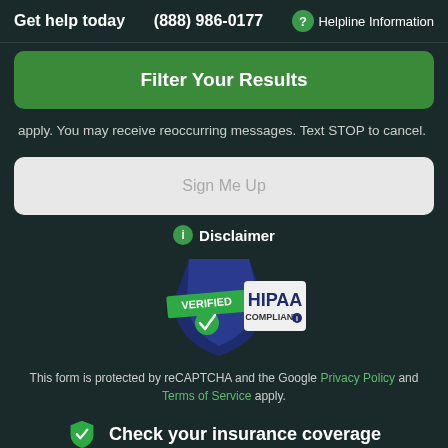Get help today  (888) 986-0177  ? Helpline Information
Filter Your Results
apply. You may receive reoccurring messages. Text STOP to cancel.
Sign Me Up
Disclaimer
[Figure (logo): HIPAA Verified Compliant badge with shield shape, blue and white colors, green checkmark]
This form is protected by reCAPTCHA and the Google Privacy Policy and Terms of Service apply.
Check your insurance coverage